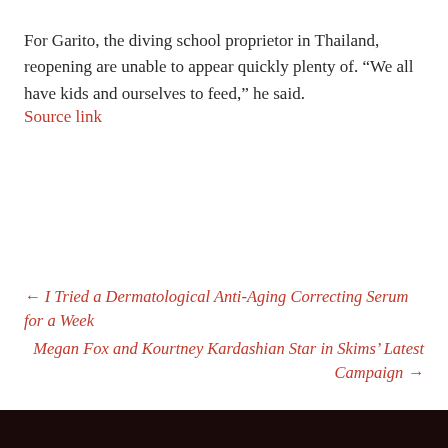For Garito, the diving school proprietor in Thailand, reopening are unable to appear quickly plenty of. “We all have kids and ourselves to feed,” he said.
Source link
← I Tried a Dermatological Anti-Aging Correcting Serum for a Week
Megan Fox and Kourtney Kardashian Star in Skims’ Latest Campaign →